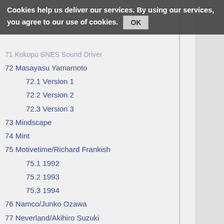Cookies help us deliver our services. By using our services, you agree to our use of cookies. OK
71 Kokopu SNES Sound Driver
72 Masayasu Yamamoto
72.1 Version 1
72.2 Version 2
72.3 Version 3
73 Mindscape
74 Mint
75 Motivetime/Richard Frankish
75.1 1992
75.2 1993
75.3 1994
76 Namco/Junko Ozawa
77 Neverland/Akihiro Suzuki
78 Nexus Interact
79 Nintendo/Akihide Inano
80 Nintendo (later)?
81 Nobuyuki Hara/Prism Kikaku
82 Norse
83 Novalogic